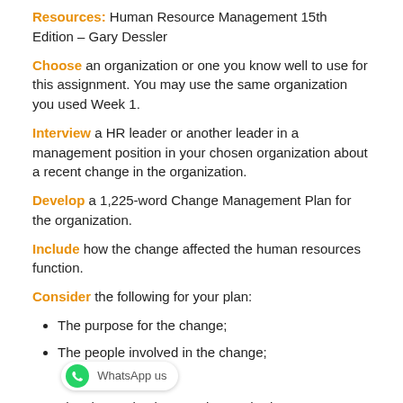Resources: Human Resource Management 15th Edition – Gary Dessler
Choose an organization or one you know well to use for this assignment. You may use the same organization you used Week 1.
Interview a HR leader or another leader in a management position in your chosen organization about a recent change in the organization.
Develop a 1,225-word Change Management Plan for the organization.
Include how the change affected the human resources function.
Consider the following for your plan:
The purpose for the change;
The people involved in the change;
The change implementation methods;
The budget concerns, timeline, and measurement of success/metrics;